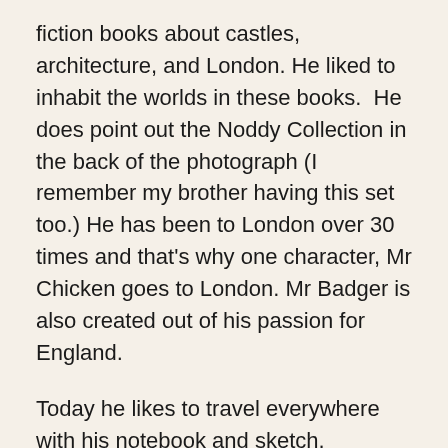fiction books about castles, architecture, and London. He liked to inhabit the worlds in these books.  He does point out the Noddy Collection in the back of the photograph (I remember my brother having this set too.) He has been to London over 30 times and that's why one character, Mr Chicken goes to London. Mr Badger is also created out of his passion for England.
Today he likes to travel everywhere with his notebook and sketch.
He shows us some slides of teapots with architectural construction and other visuals of things that inspire his art. He always loved architecture and history. He then tells us a bit more of the history of where Old Tom came from (he is